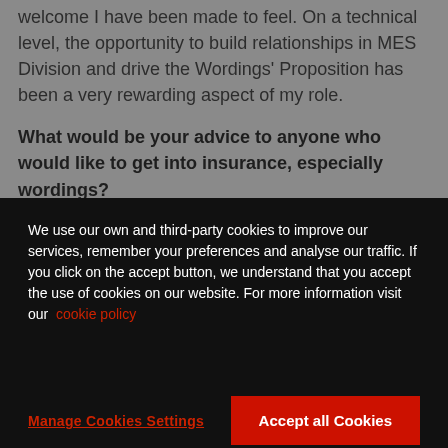welcome I have been made to feel. On a technical level, the opportunity to build relationships in MES Division and drive the Wordings' Proposition has been a very rewarding aspect of my role.
What would be your advice to anyone who would like to get into insurance, especially wordings?
Do it! I find the sector to be very rewarding – insurance can play an important role in any change to a more sustainable and progressive global outlook. A role in Wordings demands a keen eye for detail and a consistent approach, I
We use our own and third-party cookies to improve our services, remember your preferences and analyse our traffic. If you click on the accept button, we understand that you accept the use of cookies on our website. For more information visit our cookie policy
Manage Cookies Settings
Accept all Cookies